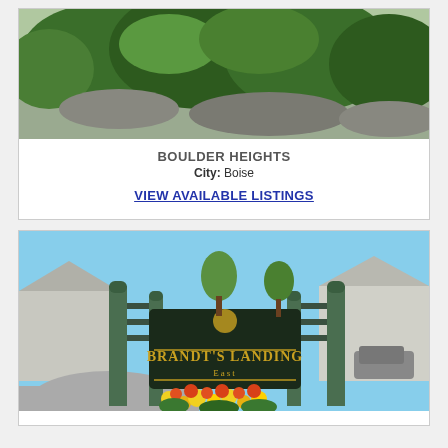[Figure (photo): Photo of Boulder Heights neighborhood showing dense green foliage and rocky terrain]
BOULDER HEIGHTS
City:  Boise
VIEW AVAILABLE LISTINGS
[Figure (photo): Photo of Brandt's Landing East neighborhood entrance sign with green pillars and colorful flowers]